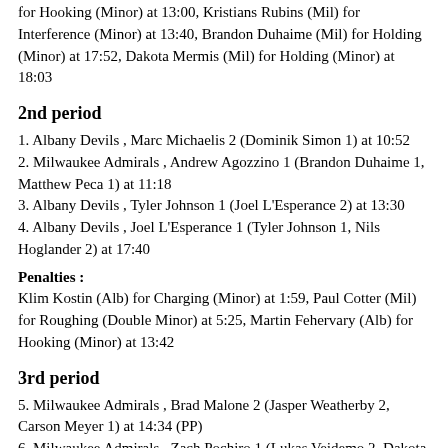for Hooking (Minor) at 13:00, Kristians Rubins (Mil) for Interference (Minor) at 13:40, Brandon Duhaime (Mil) for Holding (Minor) at 17:52, Dakota Mermis (Mil) for Holding (Minor) at 18:03
2nd period
1. Albany Devils , Marc Michaelis 2 (Dominik Simon 1) at 10:52
2. Milwaukee Admirals , Andrew Agozzino 1 (Brandon Duhaime 1, Matthew Peca 1) at 11:18
3. Albany Devils , Tyler Johnson 1 (Joel L'Esperance 2) at 13:30
4. Albany Devils , Joel L'Esperance 1 (Tyler Johnson 1, Nils Hoglander 2) at 17:40
Penalties : Klim Kostin (Alb) for Charging (Minor) at 1:59, Paul Cotter (Mil) for Roughing (Double Minor) at 5:25, Martin Fehervary (Alb) for Hooking (Minor) at 13:42
3rd period
5. Milwaukee Admirals , Brad Malone 2 (Jasper Weatherby 2, Carson Meyer 1) at 14:34 (PP)
6. Milwaukee Admirals , Zach Pochiro 1 (Lukas Vejdemo 2, Dakota Mermis 1) at 18:51